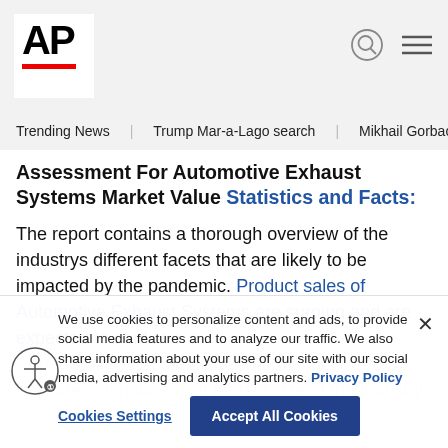AP
Trending News   Trump Mar-a-Lago search   Mikhail Gorbachev d
Assessment For Automotive Exhaust Systems Market Value Statistics and Facts:
The report contains a thorough overview of the industrys different facets that are likely to be impacted by the pandemic. Product sales of Automotive Exhaust Systems are surging and are expected to continue in... ...the report offers definitive information ...ects, revenue estimation, and market size of the industry.
We use cookies to personalize content and ads, to provide social media features and to analyze our traffic. We also share information about your use of our site with our social media, advertising and analytics partners. Privacy Policy
Cookies Settings   Accept All Cookies